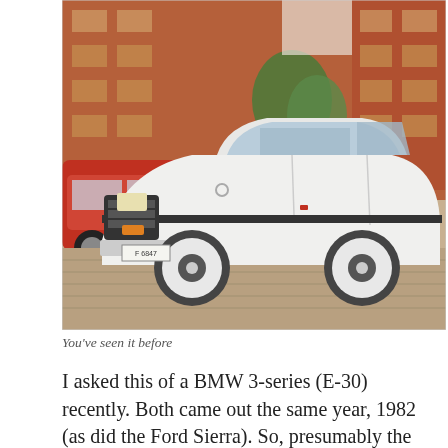[Figure (photo): A white Mercedes-Benz 190E (W201) sedan parked on a brick-paved surface in front of a red brick building, with other cars visible in the background including a red car on the left.]
You've seen it before
I asked this of a BMW 3-series (E-30) recently. Both came out the same year, 1982 (as did the Ford Sierra). So, presumably the cars gestated at the same time and without a large likelihood of designers and clay modellers migrating between